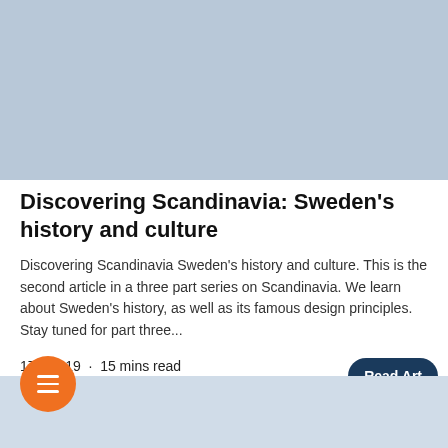[Figure (photo): Light blue/grey rectangular image placeholder at the top of the page]
Discovering Scandinavia: Sweden's history and culture
Discovering Scandinavia Sweden's history and culture. This is the second article in a three part series on Scandinavia. We learn about Sweden's history, as well as its famous design principles. Stay tuned for part three...
17 Oct 19  ·  15 mins read
[Figure (screenshot): Dark blue 'Read Art' button partially visible on right side]
[Figure (illustration): Orange circular hamburger menu button with three white lines]
[Figure (photo): Light blue/grey strip at the bottom of the page]